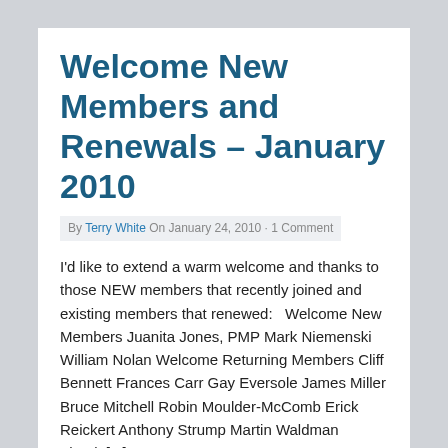Welcome New Members and Renewals – January 2010
By Terry White On January 24, 2010 · 1 Comment
I'd like to extend a warm welcome and thanks to those NEW members that recently joined and existing members that renewed:   Welcome New Members Juanita Jones, PMP Mark Niemenski William Nolan Welcome Returning Members Cliff Bennett Frances Carr Gay Eversole James Miller Bruce Mitchell Robin Moulder-McComb Erick Reickert Anthony Strump Martin Waldman    Thank [...]
Read Full Article →